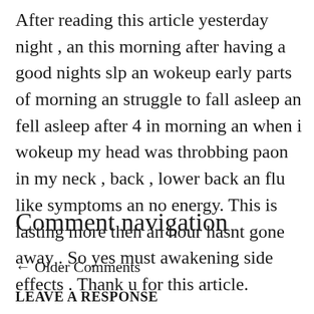After reading this article yesterday night , an this morning after having a good nights slp an wokeup early parts of morning an struggle to fall asleep an fell asleep after 4 in morning an when i wokeup my head was throbbing paon in my neck , back , lower back an flu like symptoms an no energy. This is lasting more then an hour hasnt gone away . So yes must awakening side effects . Thank u for this article.
Comment navigation
← Older Comments
LEAVE A RESPONSE